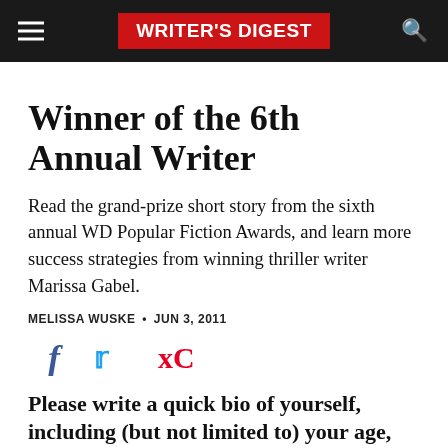WRITER'S DIGEST
Winner of the 6th Annual Writer
Read the grand-prize short story from the sixth annual WD Popular Fiction Awards, and learn more success strategies from winning thriller writer Marissa Gabel.
MELISSA WUSKE • JUN 3, 2011
[Figure (infographic): Social sharing icons: Facebook (f), Twitter (bird), Pinterest (P)]
Please write a quick bio of yourself, including (but not limited to) your age,